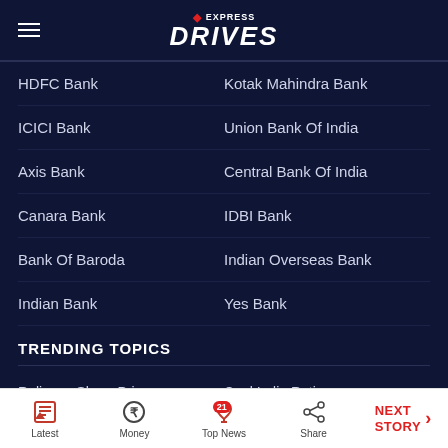Express Drives
HDFC Bank
Kotak Mahindra Bank
ICICI Bank
Union Bank Of India
Axis Bank
Central Bank Of India
Canara Bank
IDBI Bank
Bank Of Baroda
Indian Overseas Bank
Indian Bank
Yes Bank
TRENDING TOPICS
Reliance Share Price
Coal India Rating
Latest | Money | Top News (21) | Share | NEXT STORY